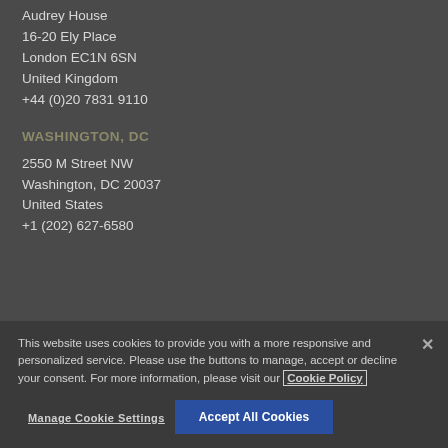Audrey House
16-20 Ely Place
London EC1N 6SN
United Kingdom
+44 (0)20 7831 9110
WASHINGTON, DC
2550 M Street NW
Washington, DC 20037
United States
+1 (202) 627-6580
This website uses cookies to provide you with a more responsive and personalized service. Please use the buttons to manage, accept or decline your consent. For more information, please visit our Cookie Policy
Manage Cookie Settings
Accept All Cookies